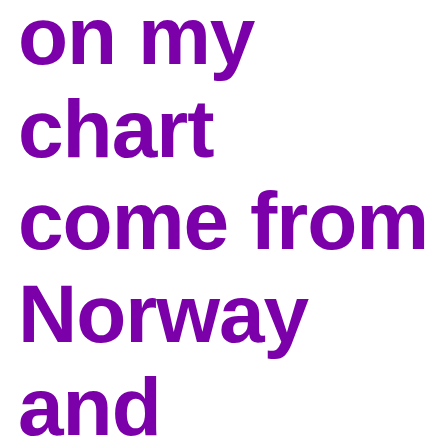on my chart come from Norway and Belgium. Germany, however,